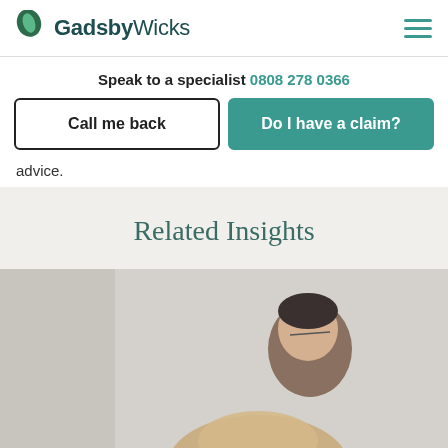GadsbyWicks
Speak to a specialist 0808 278 0366
Call me back
Do I have a claim?
advice.
Related Insights
[Figure (photo): A woman with grey hair and glasses smiling at a man across a consultation table, with a blonde woman in the foreground out of focus]